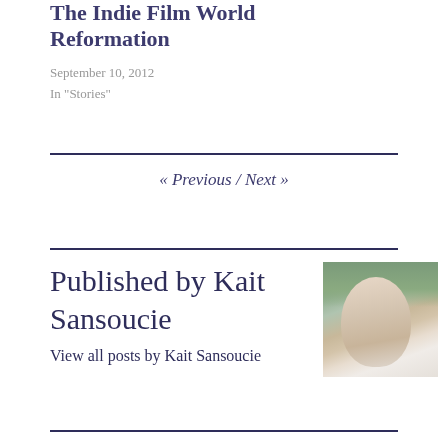The Indie Film World Reformation
September 10, 2012
In "Stories"
« Previous / Next »
Published by Kait Sansoucie
View all posts by Kait Sansoucie
[Figure (photo): Headshot photo of Kait Sansoucie, a woman looking upward with trees in background]